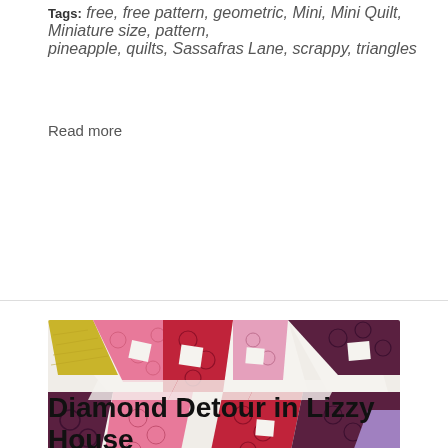Tags: free, free pattern, geometric, Mini, Mini Quilt, Miniature size, pattern, pineapple, quilts, Sassafras Lane, scrappy, triangles
Read more
[Figure (photo): A colorful quilt with diamond/checkerboard pattern featuring pink, red, purple, yellow, and white fabrics with decorative prints, photographed at an angle.]
Diamond Detour in Lizzy House Fabrics